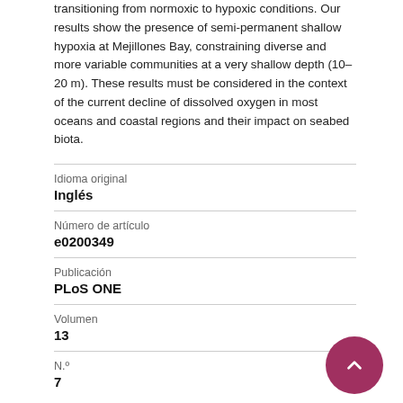transitioning from normoxic to hypoxic conditions. Our results show the presence of semi-permanent shallow hypoxia at Mejillones Bay, constraining diverse and more variable communities at a very shallow depth (10–20 m). These results must be considered in the context of the current decline of dissolved oxygen in most oceans and coastal regions and their impact on seabed biota.
| Idioma original | Inglés |
| Número de artículo | e0200349 |
| Publicación | PLoS ONE |
| Volumen | 13 |
| N.° | 7 |